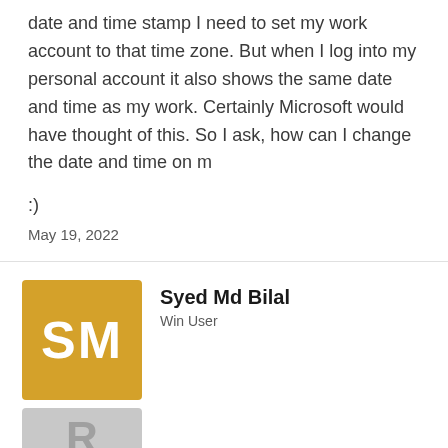date and time stamp I need to set my work account to that time zone. But when I log into my personal account it also shows the same date and time as my work. Certainly Microsoft would have thought of this. So I ask, how can I change the date and time on m
:)
May 19, 2022
Syed Md Bilal
Win User